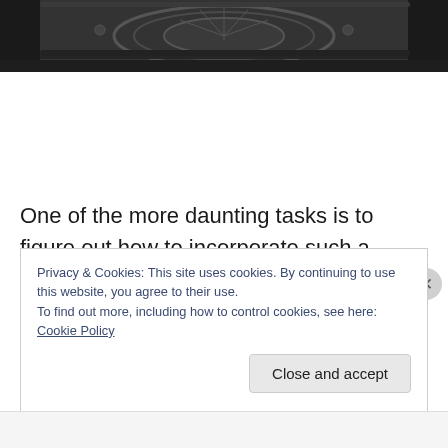[Figure (photo): Close-up photograph of a decorative cast iron stove with ornamental relief patterns, dark metallic surface]
One of the more daunting tasks is to figure out how to incorporate such a stove into our home. Because I'm fairly positive it will take an army to move it. At least we'll always a conversational piece close at hand.
Privacy & Cookies: This site uses cookies. By continuing to use this website, you agree to their use.
To find out more, including how to control cookies, see here: Cookie Policy
Close and accept